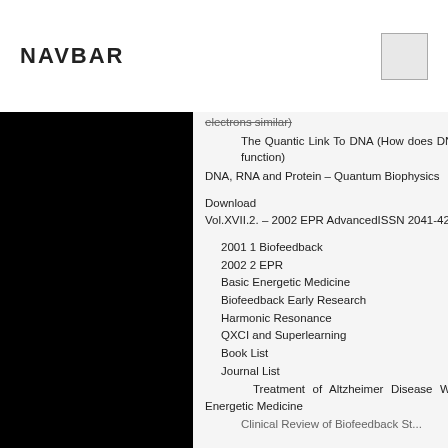NAVBAR
electrons similar)
The Quantic Link To DNA (How does DNA function)
DNA, RNA and Protein – Quantum Biophysics
Download
Vol.XVII.2. – 2002 EPR AdvancedISSN 2041-4293
2001 1 Biofeedback
2002 2 EPR
Basic Energetic Medicine
Biofeedback Early Research
Harmonic Resonance
QXCI and Superlearning
Book List
Journal List
Treatment of Altzheimer Disease With Energetic Medicine
Clinical Review of Biofeedback St...